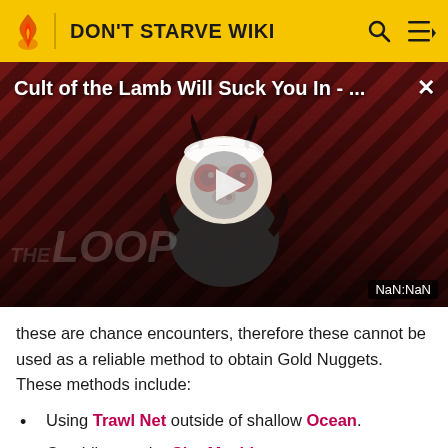DON'T STARVE WIKI
[Figure (screenshot): Video thumbnail for 'Cult of the Lamb Will Suck You In - ...' with a game character mascot, play button, and THE LOOP watermark. Shows NaN:NaN timestamp.]
these are chance encounters, therefore these cannot be used as a reliable method to obtain Gold Nuggets. These methods include:
Using Trawl Net outside of shallow Ocean.
Gambling on the Slot Machine.